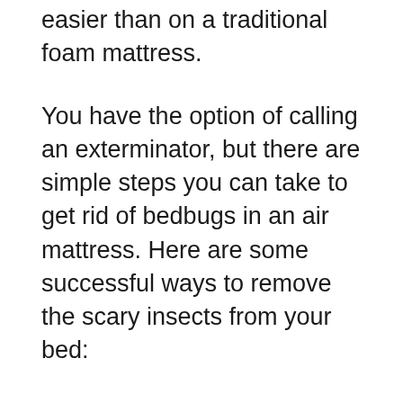easier than on a traditional foam mattress.
You have the option of calling an exterminator, but there are simple steps you can take to get rid of bedbugs in an air mattress. Here are some successful ways to remove the scary insects from your bed:
Wash Your Bedding
One advantage of an air mattress is the compact seamless construction using sturdy PVC or other plastics. This means